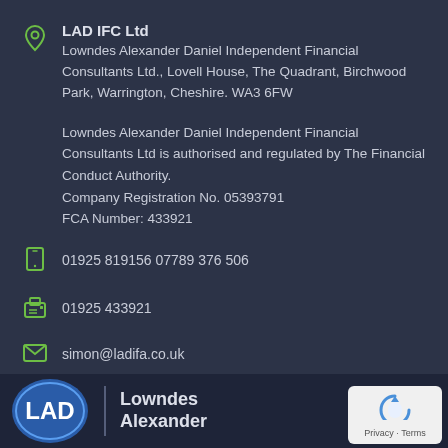LAD IFC Ltd
Lowndes Alexander Daniel Independent Financial Consultants Ltd., Lovell House, The Quadrant, Birchwood Park, Warrington, Cheshire. WA3 6FW
Lowndes Alexander Daniel Independent Financial Consultants Ltd is authorised and regulated by The Financial Conduct Authority.
Company Registration No. 05393791
FCA Number: 433921
01925 819156 07789 376 506
01925 433921
simon@ladifa.co.uk
[Figure (logo): LAD IFC Ltd oval logo with LAD text, followed by vertical divider and Lowndes Alexander brand text in white on dark background. reCAPTCHA Privacy Terms badge in bottom right corner.]